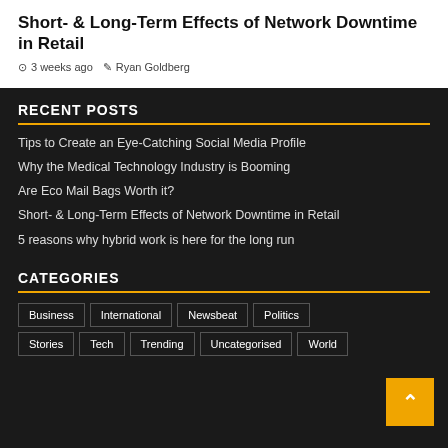Short- & Long-Term Effects of Network Downtime in Retail
3 weeks ago   Ryan Goldberg
RECENT POSTS
Tips to Create an Eye-Catching Social Media Profile
Why the Medical Technology Industry is Booming
Are Eco Mail Bags Worth it?
Short- & Long-Term Effects of Network Downtime in Retail
5 reasons why hybrid work is here for the long run
CATEGORIES
Business
International
Newsbeat
Politics
Stories
Tech
Trending
Uncategorised
World